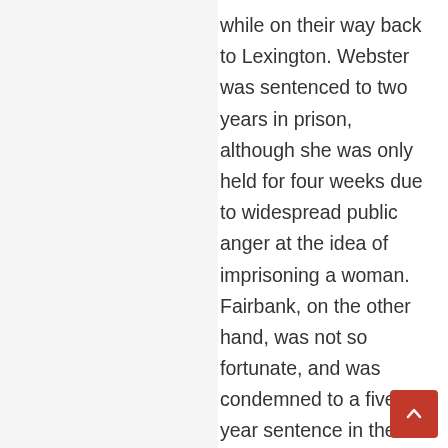while on their way back to Lexington. Webster was sentenced to two years in prison, although she was only held for four weeks due to widespread public anger at the idea of imprisoning a woman. Fairbank, on the other hand, was not so fortunate, and was condemned to a five-year sentence in the state penitentiary. Governor John Crittenden granted him clemency in 1849 after he had completed four years of his sentence in hard labor till his release. Webster went to New England for a brief while before returning to Indiana in 1845 and purchasing a six